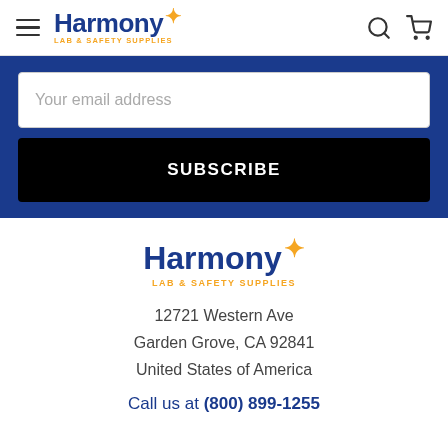Harmony LAB & SAFETY SUPPLIES
Your email address
SUBSCRIBE
[Figure (logo): Harmony Lab & Safety Supplies logo with orange star accent]
12721 Western Ave
Garden Grove, CA 92841
United States of America
Call us at (800) 899-1255